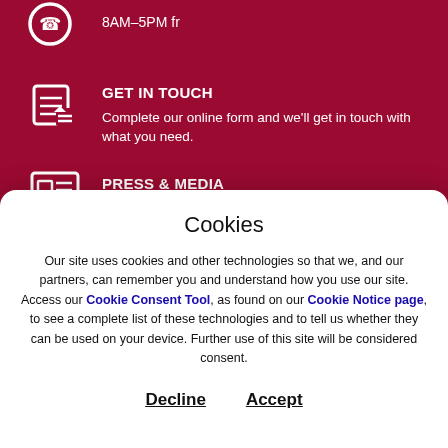8AM–5PM fr
GET IN TOUCH
Complete our online form and we'll get in touch with what you need.
PRESS & MEDIA
Email mb-FSMarketingCanada@us.nestle.com
Cookies
Our site uses cookies and other technologies so that we, and our partners, can remember you and understand how you use our site. Access our Cookie Consent Tool, as found on our Cookie Notice page, to see a complete list of these technologies and to tell us whether they can be used on your device. Further use of this site will be considered consent.
Decline
Accept